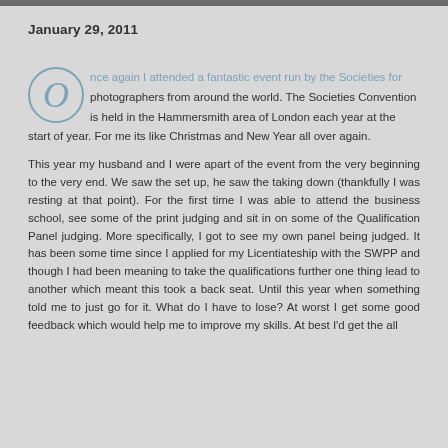January 29, 2011
Once again I attended a fantastic event run by the Societies for photographers from around the world. The Societies Convention is held in the Hammersmith area of London each year at the start of year. For me its like Christmas and New Year all over again.
This year my husband and I were apart of the event from the very beginning to the very end. We saw the set up, he saw the taking down (thankfully I was resting at that point). For the first time I was able to attend the business school, see some of the print judging and sit in on some of the Qualification Panel judging. More specifically, I got to see my own panel being judged. It has been some time since I applied for my Licentiateship with the SWPP and though I had been meaning to take the qualifications further one thing lead to another which meant this took a back seat. Until this year when something told me to just go for it. What do I have to lose? At worst I get some good feedback which would help me to improve my skills. At best I'd get the all